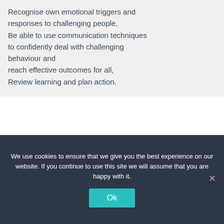Recognise own emotional triggers and responses to challenging people, Be able to use communication techniques to confidently deal with challenging behaviour and reach effective outcomes for all, Review learning and plan action.
Max Participants: 0
We use cookies to ensure that we give you the best experience on our website. If you continue to use this site we will assume that you are happy with it.